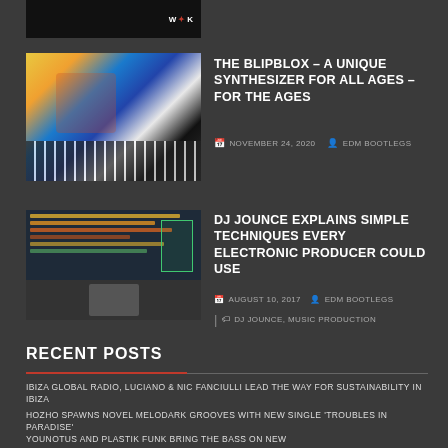[Figure (photo): Top partial image strip with WK logo/watermark on dark background]
[Figure (photo): Two children playing with Blipblox synthesizer toy on patterned floor]
THE BLIPBLOX – A UNIQUE SYNTHESIZER FOR ALL AGES – FOR THE AGES
NOVEMBER 24, 2020   EDM BOOTLEGS
[Figure (screenshot): DAW (Ableton Live) session view with colored clips and arrangement, plus video thumbnail below]
DJ JOUNCE EXPLAINS SIMPLE TECHNIQUES EVERY ELECTRONIC PRODUCER COULD USE
AUGUST 10, 2017   EDM BOOTLEGS
DJ JOUNCE, MUSIC PRODUCTION
RECENT POSTS
IBIZA GLOBAL RADIO, LUCIANO & NIC FANCIULLI LEAD THE WAY FOR SUSTAINABILITY IN IBIZA
HOZHO SPAWNS NOVEL MELODARK GROOVES WITH NEW SINGLE 'TROUBLES IN PARADISE'
YOUNOTUS AND PLASTIK FUNK BRING THE BASS ON NEW